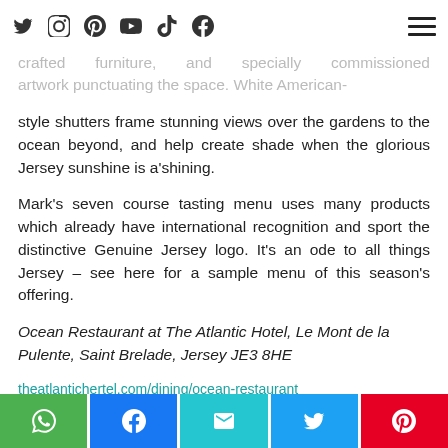Social media navigation bar with icons: Twitter, Instagram, Pinterest, YouTube, TikTok, Facebook, and hamburger menu
crafted furniture, and specially commissioned artwork punctuating the space. White American-style shutters frame stunning views over the gardens to the ocean beyond, and help create shade when the glorious Jersey sunshine is a'shining.
Mark's seven course tasting menu uses many products which already have international recognition and sport the distinctive Genuine Jersey logo. It's an ode to all things Jersey – see here for a sample menu of this season's offering.
Ocean Restaurant at The Atlantic Hotel, Le Mont de la Pulente, Saint Brelade, Jersey JE3 8HE
theatlantichertel.com/dining/ocean-restaurant
Share buttons: WhatsApp, Facebook, Email, Twitter, Pinterest